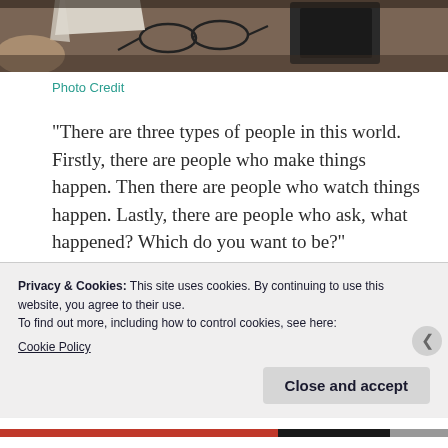[Figure (photo): A top-down photo of a wooden desk with glasses, notebooks, and papers scattered on it — partially visible at the top of the page.]
Photo Credit
“There are three types of people in this world. Firstly, there are people who make things happen. Then there are people who watch things happen. Lastly, there are people who ask, what happened? Which do you want to be?”
~Steve Backley
Privacy & Cookies: This site uses cookies. By continuing to use this website, you agree to their use.
To find out more, including how to control cookies, see here:
Cookie Policy